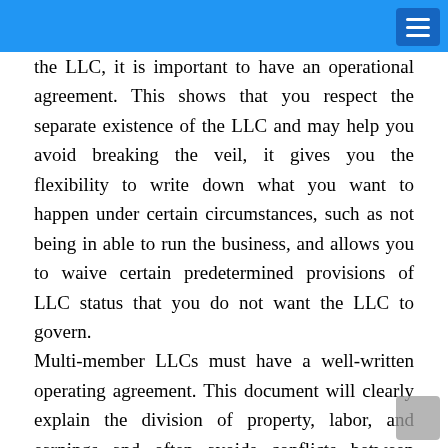the LLC, it is important to have an operational agreement. This shows that you respect the separate existence of the LLC and may help you avoid breaking the veil, it gives you the flexibility to write down what you want to happen under certain circumstances, such as not being in able to run the business, and allows you to waive certain predetermined provisions of LLC status that you do not want the LLC to govern.
Multi-member LLCs must have a well-written operating agreement. This document will clearly explain the division of property, labor, and earnings and often avoids conflicts between owners. It should specify, among other things, who has the power to do what, what vote is required to approve certain transactions, how members' interests can be transferred, how new members can be added, how distributions and profits will be shared as well as losses and more. Your lawyer should check the